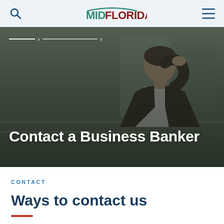MIDFLORIDA
[Figure (photo): A man in a dark blazer looking down thoughtfully, seated in what appears to be a modern indoor setting with large windows in the background. Hero banner image with text 'Contact a Business Banker' overlaid.]
Contact a Business Banker
CONTACT
Ways to contact us